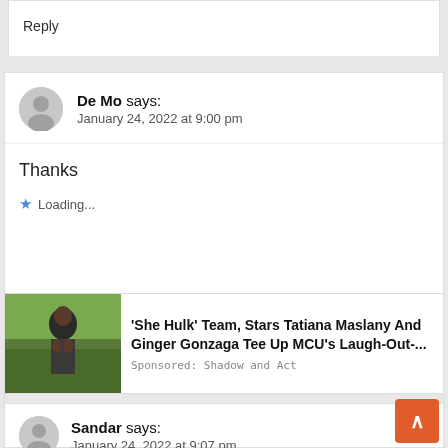Reply
De Mo says:
January 24, 2022 at 9:00 pm
Thanks
Loading...
[Figure (photo): Advertisement image showing a person outdoors]
'She Hulk' Team, Stars Tatiana Maslany And Ginger Gonzaga Tee Up MCU's Laugh-Out-...
Sponsored: Shadow and Act
Sandar says:
January 24, 2022 at 9:07 pm